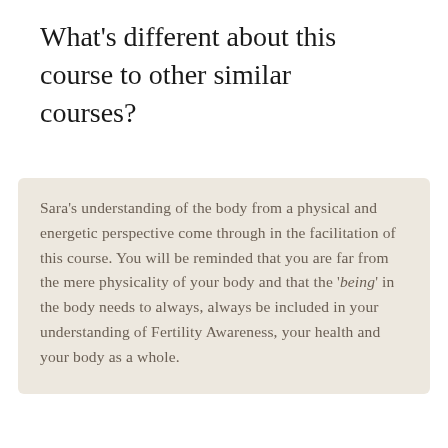What's different about this course to other similar courses?
Sara's understanding of the body from a physical and energetic perspective come through in the facilitation of this course. You will be reminded that you are far from the mere physicality of your body and that the 'being' in the body needs to always, always be included in your understanding of Fertility Awareness, your health and your body as a whole.